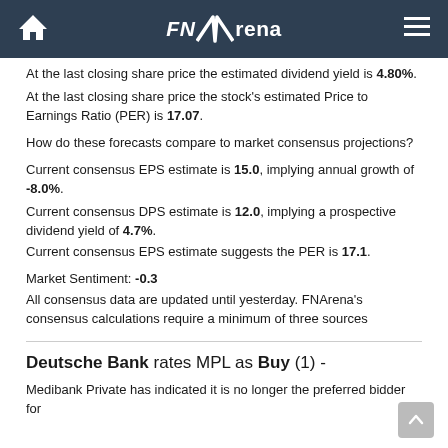FNArena
At the last closing share price the estimated dividend yield is 4.80%.
At the last closing share price the stock's estimated Price to Earnings Ratio (PER) is 17.07.
How do these forecasts compare to market consensus projections?
Current consensus EPS estimate is 15.0, implying annual growth of -8.0%.
Current consensus DPS estimate is 12.0, implying a prospective dividend yield of 4.7%.
Current consensus EPS estimate suggests the PER is 17.1.
Market Sentiment: -0.3
All consensus data are updated until yesterday. FNArena's consensus calculations require a minimum of three sources
Deutsche Bank rates MPL as Buy (1) -
Medibank Private has indicated it is no longer the preferred bidder for